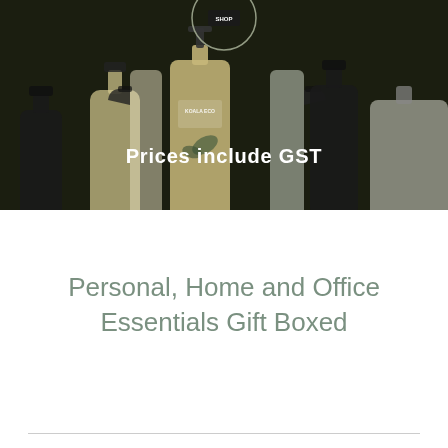[Figure (photo): Dark-toned product photo showing Koala Eco cleaning product bottles and spray bottles with a circle logo badge at top]
Prices include GST
Personal, Home and Office Essentials Gift Boxed